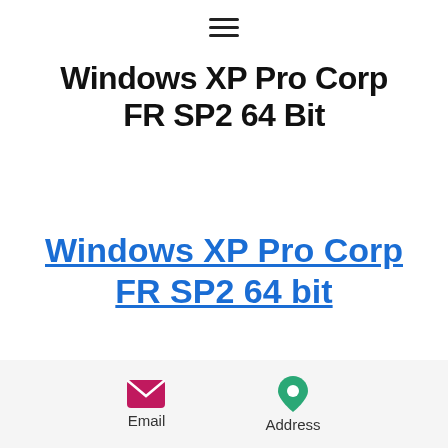Windows XP Pro Corp FR SP2 64 Bit
Windows XP Pro Corp FR SP2 64 bit
Email   Address